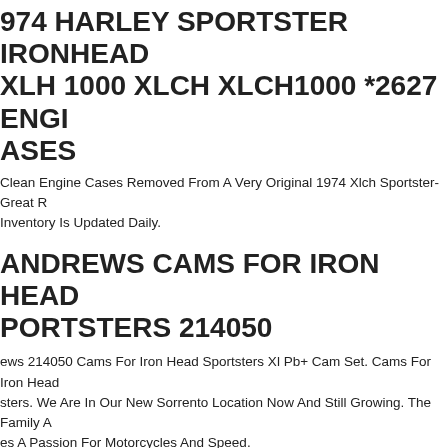974 HARLEY SPORTSTER IRONHEAD XLH 1000 XLCH XLCH1000 *2627 ENGINE ASES
Clean Engine Cases Removed From A Very Original 1974 Xlch Sportster- Great R Inventory Is Updated Daily.
ANDREWS CAMS FOR IRON HEAD PORTSTERS 214050
ews 214050 Cams For Iron Head Sportsters Xl Pb+ Cam Set. Cams For Iron Head sters. We Are In Our New Sorrento Location Now And Still Growing. The Family A es A Passion For Motorcycles And Speed.
Cycle - 11-0406 - Super E Carburetor Kit 1979-85 Hd Ironhead Sportster. S&s Cycl r E Carburetor Kit. Kit Contents Sold As A Kit. Competitive Prices. All Product War e Sole Responsibility Of The Manufacturer. No Warranty, Written Or Implied Is M ny Products Made Or Sold By Adrenaline Junkee.
y Davidson K Model Xlh Ironhead Sportster Front End.
y Davidson Ironhead Sportster Frame. That You Have Read This All Andagree. W